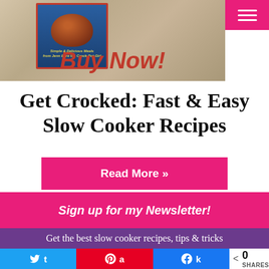[Figure (photo): Book cover for 'Get Crocked: Fast & Easy Slow Cooker Recipes' by Jenn Bare the Crock-Pot Girl, showing a bowl of chili on the front, displayed on a wooden table background with 'Buy Now!' text in red below]
Get Crocked: Fast & Easy Slow Cooker Recipes
Read More »
Sign up for my Newsletter!
Get the best slow cooker recipes, tips & tricks
0 SHARES